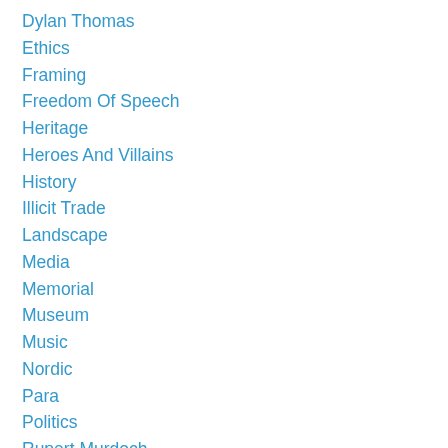Dylan Thomas
Ethics
Framing
Freedom Of Speech
Heritage
Heroes And Villains
History
Illicit Trade
Landscape
Media
Memorial
Museum
Music
Nordic
Para
Politics
Rupert Murdoch
Science
Science Fiction
Shockmolt
Status